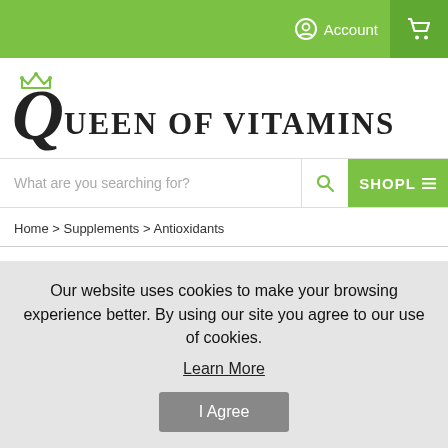Account  [cart icon]
[Figure (logo): Queen Of Vitamins logo with crown above the Q]
What are you searching for?  SHOPL
Home > Supplements > Antioxidants
ANTIOXIDANTS
Products
Our website uses cookies to make your browsing experience better. By using our site you agree to our use of cookies. Learn More  I Agree